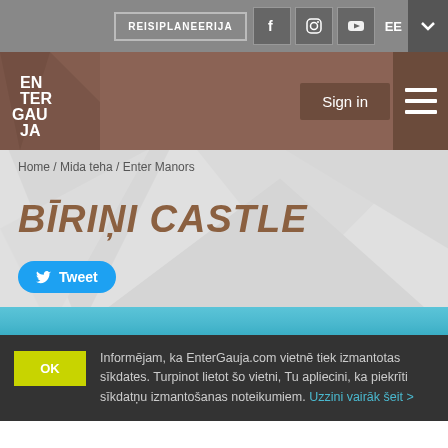REISIPLANEERIJA | f | EE
[Figure (logo): EnterGauja logo in white text on brown background]
Sign in
Home / Mida teha / Enter Manors
BĪRIŅI CASTLE
Tweet
Informējam, ka EnterGauja.com vietnē tiek izmantotas sīkdates. Turpinot lietot šo vietni, Tu apliecini, ka piekrīti sīkdatņu izmantošanas noteikumiem. Uzzini vairāk šeit >